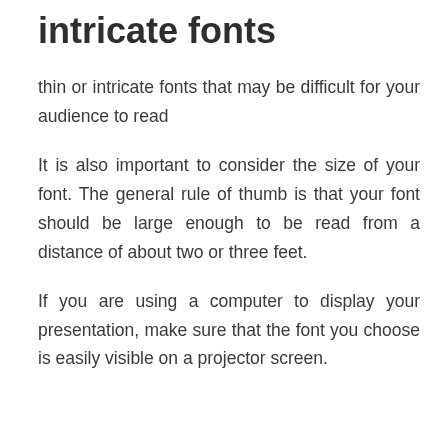intricate fonts
thin or intricate fonts that may be difficult for your audience to read
It is also important to consider the size of your font. The general rule of thumb is that your font should be large enough to be read from a distance of about two or three feet.
If you are using a computer to display your presentation, make sure that the font you choose is easily visible on a projector screen.